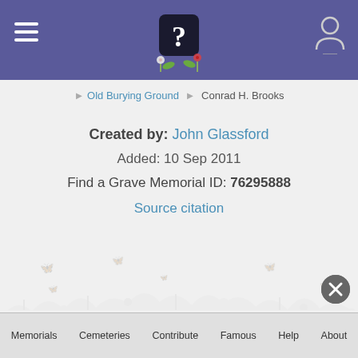Find a Grave header with logo and navigation
Old Burying Ground · Conrad H. Brooks
Created by: John Glassford
Added: 10 Sep 2011
Find a Grave Memorial ID: 76295888
Source citation
Memorials  Cemeteries  Contribute  Famous  Help  About